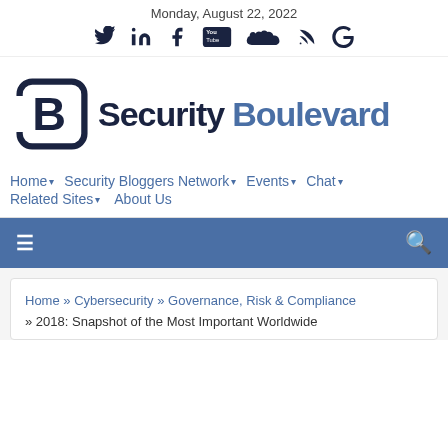Monday, August 22, 2022
[Figure (logo): Security Boulevard logo with social media icons (Twitter, LinkedIn, Facebook, YouTube, SoundCloud, RSS, Google)]
Home ▾  Security Bloggers Network ▾  Events ▾  Chat ▾  Related Sites ▾  About Us
[Figure (infographic): Blue navigation toolbar with hamburger menu on left and search icon on right]
Home » Cybersecurity » Governance, Risk & Compliance » 2018: Snapshot of the Most Important Worldwide